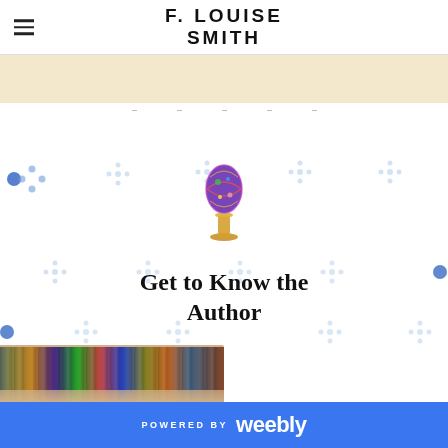F. LOUISE SMITH
[Figure (illustration): Decorative Ukrainian pysanka egg on a golden stand, surrounded by blue snowflake/flower decorative patterns on white background]
Get to Know the Author
[Figure (photo): Partial photo of a bookshelf filled with colorful books]
POWERED BY weebly